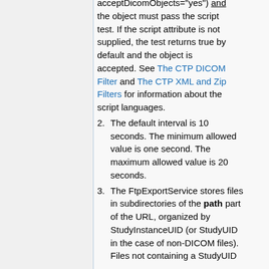acceptDicomObjects="yes") and the object must pass the script test. If the script attribute is not supplied, the test returns true by default and the object is accepted. See The CTP DICOM Filter and The CTP XML and Zip Filters for information about the script languages.
The default interval is 10 seconds. The minimum allowed value is one second. The maximum allowed value is 20 seconds.
The FtpExportService stores files in subdirectories of the path part of the URL, organized by StudyInstanceUID (or StudyUID in the case of non-DICOM files). Files not containing a StudyUID